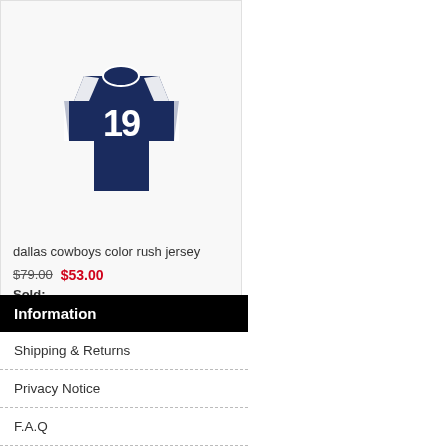[Figure (photo): Dallas Cowboys #19 navy blue football jersey with white number and shoulder stripes]
dallas cowboys color rush jersey
$79.00  $53.00
Sold:
★★★★★ (762)  ♥like
Information
Shipping & Returns
Privacy Notice
F.A.Q
Contact Us